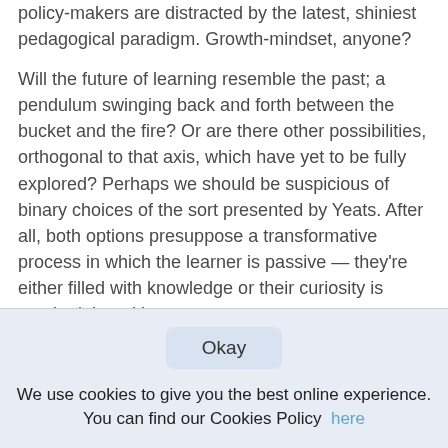policy-makers are distracted by the latest, shiniest pedagogical paradigm. Growth-mindset, anyone?
Will the future of learning resemble the past; a pendulum swinging back and forth between the bucket and the fire? Or are there other possibilities, orthogonal to that axis, which have yet to be fully explored? Perhaps we should be suspicious of binary choices of the sort presented by Yeats. After all, both options presuppose a transformative process in which the learner is passive — they're either filled with knowledge or their curiosity is sparked, but either way
Okay
We use cookies to give you the best online experience. You can find our Cookies Policy here